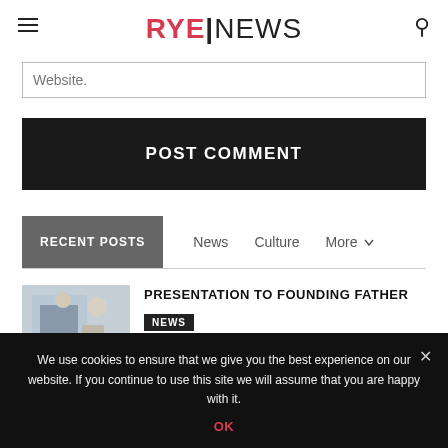RYE|NEWS
Website.
POST COMMENT
RECENT POSTS
PRESENTATION TO FOUNDING FATHER
NEWS
We use cookies to ensure that we give you the best experience on our website. If you continue to use this site we will assume that you are happy with it.
OK